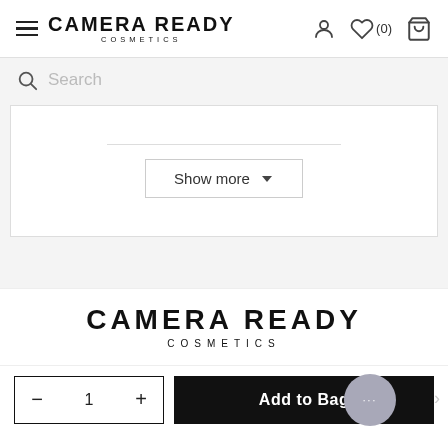[Figure (screenshot): Camera Ready Cosmetics website header with hamburger menu, brand logo, user icon, wishlist icon (0), and shopping bag icon]
Search
[Figure (screenshot): Filter panel with a Show more dropdown button]
[Figure (logo): Camera Ready Cosmetics large logo]
Add to Bag
1